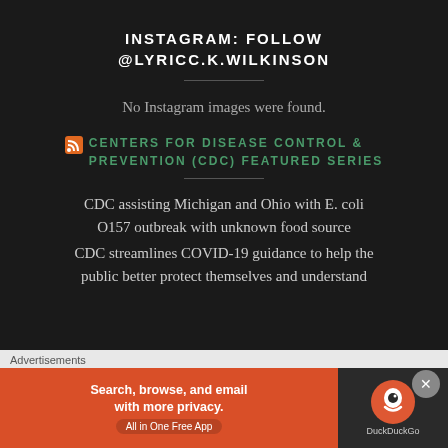INSTAGRAM: FOLLOW @LYRICC.K.WILKINSON
No Instagram images were found.
CENTERS FOR DISEASE CONTROL & PREVENTION (CDC) FEATURED SERIES
CDC assisting Michigan and Ohio with E. coli O157 outbreak with unknown food source
CDC streamlines COVID-19 guidance to help the public better protect themselves and understand
[Figure (screenshot): DuckDuckGo advertisement banner: orange section with text 'Search, browse, and email with more privacy. All in One Free App' and dark section with DuckDuckGo logo]